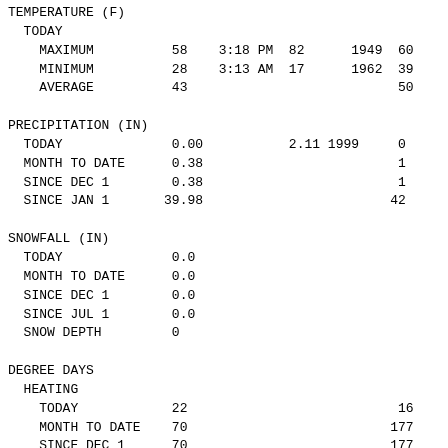| Category | Value | Time | Record | Year | Normal |
| --- | --- | --- | --- | --- | --- |
| TEMPERATURE (F) |  |  |  |  |  |
|   TODAY |  |  |  |  |  |
|     MAXIMUM | 58 | 3:18 PM | 82 | 1949 | 60 |
|     MINIMUM | 28 | 3:13 AM | 17 | 1962 | 39 |
|     AVERAGE | 43 |  |  |  | 50 |
| PRECIPITATION (IN) |  |  |  |  |  |
|   TODAY | 0.00 |  | 2.11 | 1999 | 0 |
|   MONTH TO DATE | 0.38 |  |  |  | 1 |
|   SINCE DEC 1 | 0.38 |  |  |  | 1 |
|   SINCE JAN 1 | 39.98 |  |  |  | 42 |
| SNOWFALL (IN) |  |  |  |  |  |
|   TODAY | 0.0 |  |  |  |  |
|   MONTH TO DATE | 0.0 |  |  |  |  |
|   SINCE DEC 1 | 0.0 |  |  |  |  |
|   SINCE JUL 1 | 0.0 |  |  |  |  |
|   SNOW DEPTH | 0 |  |  |  |  |
| DEGREE DAYS |  |  |  |  |  |
|   HEATING |  |  |  |  |  |
|     TODAY | 22 |  |  |  | 16 |
|     MONTH TO DATE | 70 |  |  |  | 177 |
|     SINCE DEC 1 | 70 |  |  |  | 177 |
|     SINCE JUL 1 | 380 |  |  |  | 541 |